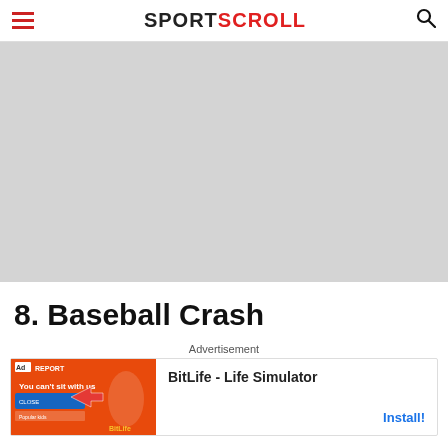SPORTSCROLL
[Figure (photo): Large gray placeholder banner image]
8. Baseball Crash
Advertisement
[Figure (screenshot): Advertisement banner: BitLife - Life Simulator app ad with Install button]